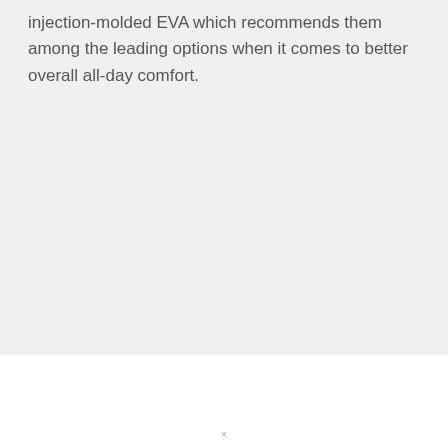injection-molded EVA which recommends them among the leading options when it comes to better overall all-day comfort.
×